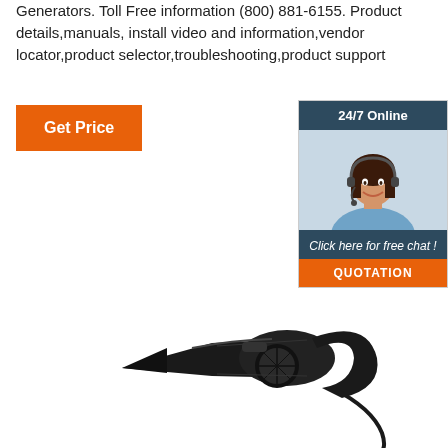Generators. Toll Free information (800) 881-6155. Product details,manuals, install video and information,vendor locator,product selector,troubleshooting,product support
[Figure (infographic): Orange 'Get Price' button]
[Figure (infographic): 24/7 Online chat box with dark blue header '24/7 Online', photo of female customer service representative with headset, dark blue footer 'Click here for free chat !' and orange 'QUOTATION' button]
[Figure (photo): Black handheld portable vacuum cleaner with cord]